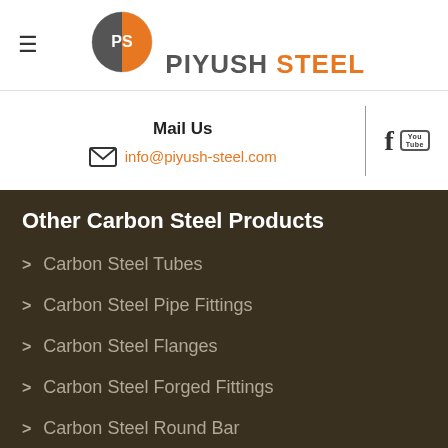[Figure (logo): Piyush Steel logo with circular PS icon and text PIYUSH STEEL]
Mail Us
info@piyush-steel.com
Other Carbon Steel Products
Carbon Steel Tubes
Carbon Steel Pipe Fittings
Carbon Steel Flanges
Carbon Steel Forged Fittings
Carbon Steel Round Bar